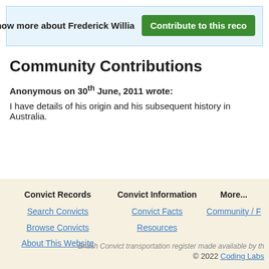Know more about Frederick Willia
Contribute to this reco
Community Contributions
Anonymous on 30th June, 2011 wrote:
I have details of his origin and his subsequent history in Australia.
Convict Records
Search Convicts
Browse Convicts
About This Website
Convict Information
Convict Facts
Resources
More...
Community / F
British Convict transportation register made available by th
© 2022 Coding Labs